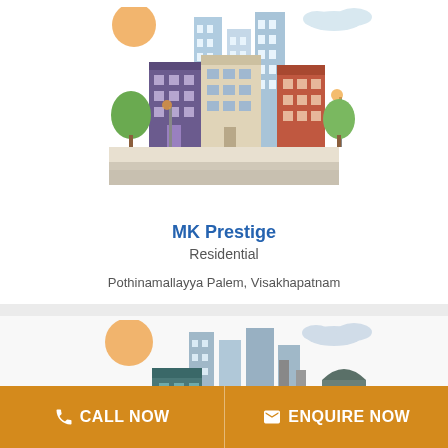[Figure (illustration): Illustrated cityscape with residential buildings, trees, and clouds on white background]
MK Prestige
Residential
Pothinamallayya Palem, Visakhapatnam
₹ 25.5 Lac – 32.5 Lac *
[Figure (illustration): Illustrated cityscape with industrial/commercial buildings and clouds on light background]
CALL NOW
ENQUIRE NOW